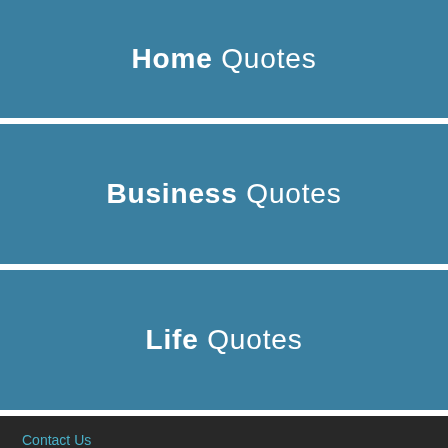Home Quotes
Business Quotes
Life Quotes
Contact Us
Pathway Insurance Services Inc.
1325 E Kemper Rd, Ste 105
Cincinnati, OH 45246